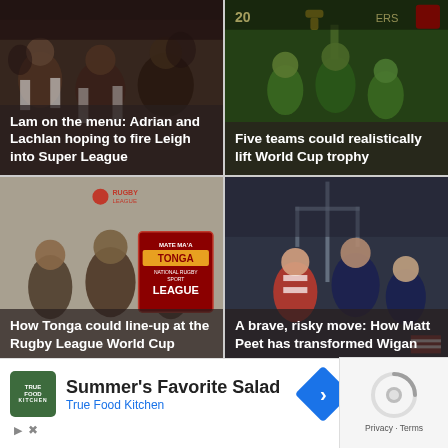[Figure (photo): Rugby crowd scene with players, dark tones]
Lam on the menu: Adrian and Lachlan hoping to fire Leigh into Super League
[Figure (photo): Rugby League team celebrating with trophy, green and yellow kits]
Five teams could realistically lift World Cup trophy
[Figure (photo): Tonga Rugby League World Cup lineup graphic with players and Mate Ma'a Tonga badge]
How Tonga could line-up at the Rugby League World Cup
[Figure (photo): Rugby players in red and white strip on field, coach visible]
A brave, risky move: How Matt Peet has transformed Wigan
Summer's Favorite Salad
True Food Kitchen